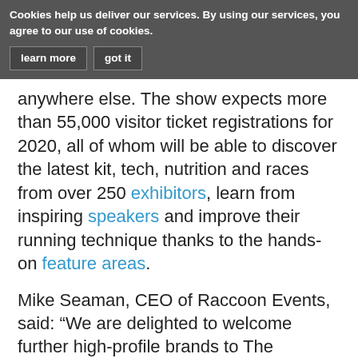Cookies help us deliver our services. By using our services, you agree to our use of cookies.   learn more   got it
anywhere else. The show expects more than 55,000 visitor ticket registrations for 2020, all of whom will be able to discover the latest kit, tech, nutrition and races from over 250 exhibitors, learn from inspiring speakers and improve their running technique thanks to the hands-on feature areas.
Mike Seaman, CEO of Raccoon Events, said: “We are delighted to welcome further high-profile brands to The National Running Show Birmingham 2020. It is a pleasure to welcome newcomers such as Brooks